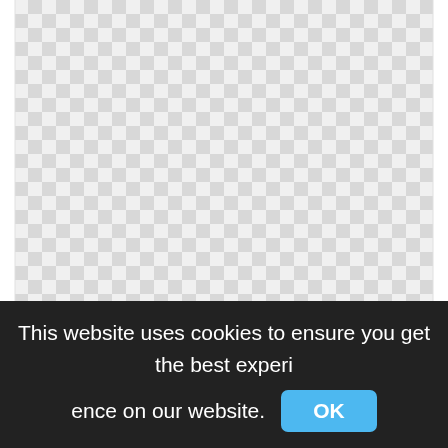[Figure (screenshot): Checkered transparent background pattern (light gray and white squares) indicating a transparent image area — no image content visible.]
Minecraft Black Sheep, Minecraft Pixel Art Sheep,minecraft tree png
442x421px
This website uses cookies to ensure you get the best experience on our website.
OK